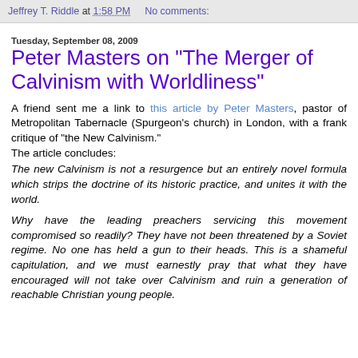Jeffrey T. Riddle at 1:58 PM   No comments:
Tuesday, September 08, 2009
Peter Masters on "The Merger of Calvinism with Worldliness"
A friend sent me a link to this article by Peter Masters, pastor of Metropolitan Tabernacle (Spurgeon's church) in London, with a frank critique of "the New Calvinism."
The article concludes:
The new Calvinism is not a resurgence but an entirely novel formula which strips the doctrine of its historic practice, and unites it with the world.
Why have the leading preachers servicing this movement compromised so readily? They have not been threatened by a Soviet regime. No one has held a gun to their heads. This is a shameful capitulation, and we must earnestly pray that what they have encouraged will not take over Calvinism and ruin a generation of reachable Christian young people.